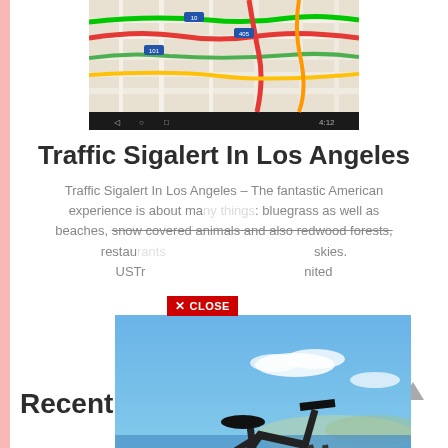[Figure (screenshot): Google Maps screenshot showing Los Angeles traffic with colored route overlays (red, green, yellow) on a dark background, displayed on an Android device screen.]
Traffic Sigalert In Los Angeles
Traffic Sigalert In Los Angeles – The fantastic American experience is about many things: bluegrass as well as beaches, snow covered animals and also redwood forests, restaurants … skies. USTr… nited
[Figure (photo): A dark gray fat-tire electric mountain bike parked on a red dirt trail with a blue sky and ocean/mountains in the background.]
Recent Posts